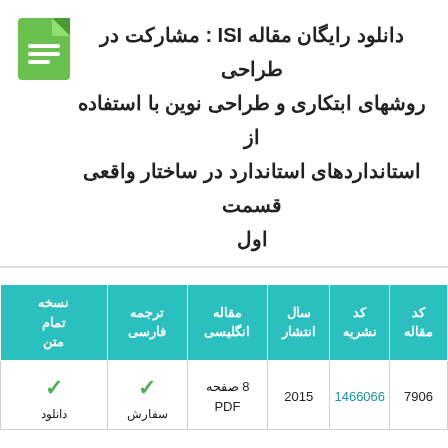دانلود رایگان مقاله ISI : مشارکت در طراحی روشهای ابتکاری و طراحی نوین با استفاده از استانداردهای استاندارد در ساختار واقعی قسمت اول
| کد مقاله | کد نشریه | سال انتشار | مقاله انگلیسی | ترجمه فارسی | نسخه تمام متن |
| --- | --- | --- | --- | --- | --- |
| 7906 | 1466066 | 2015 | 8 صفحه PDF | سفارش ✓ | دانلود ✓ |